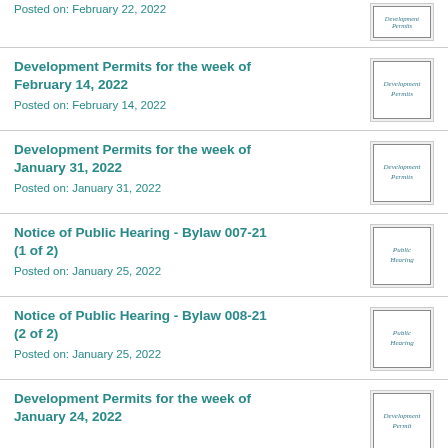Posted on: February 22, 2022
Development Permits for the week of February 14, 2022
Posted on: February 14, 2022
Development Permits for the week of January 31, 2022
Posted on: January 31, 2022
Notice of Public Hearing - Bylaw 007-21 (1 of 2)
Posted on: January 25, 2022
Notice of Public Hearing - Bylaw 008-21 (2 of 2)
Posted on: January 25, 2022
Development Permits for the week of January 24, 2022